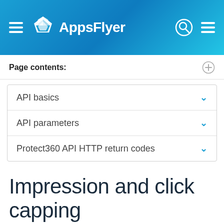[Figure (logo): AppsFlyer navigation header with hamburger menu, AppsFlyer logo, search icon, and hamburger menu on the right, on a blue gradient background]
Page contents:
API basics
API parameters
Protect360 API HTTP return codes
Impression and click capping
If an ad network has extremely high rates of